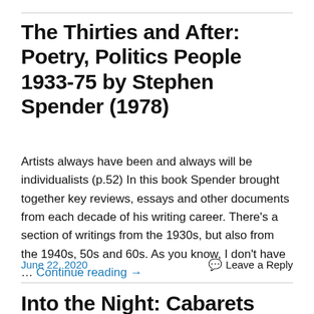The Thirties and After: Poetry, Politics People 1933-75 by Stephen Spender (1978)
Artists always have been and always will be individualists (p.52) In this book Spender brought together key reviews, essays and other documents from each decade of his writing career. There's a section of writings from the 1930s, but also from the 1940s, 50s and 60s. As you know, I don't have … Continue reading →
June 22, 2020    Leave a Reply
Into the Night: Cabarets and